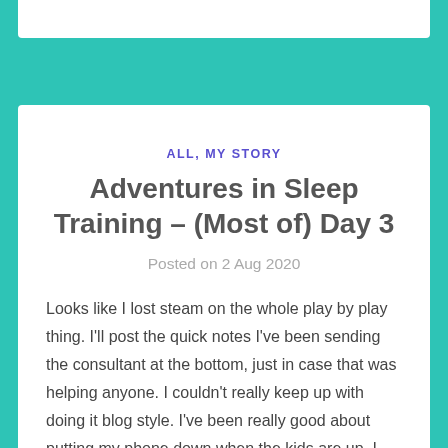ALL, MY STORY
Adventures in Sleep Training – (Most of) Day 3
Posted on 2 Aug 2020
Looks like I lost steam on the whole play by play thing. I'll post the quick notes I've been sending the consultant at the bottom, just in case that was helping anyone. I couldn't really keep up with doing it blog style. I've been really good about putting my phone down when the kids are up, I don't want them